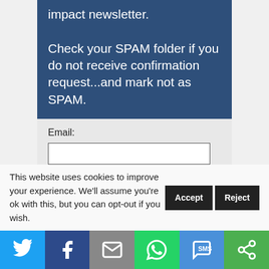impact newsletter.

Check your SPAM folder if you do not receive confirmation request...and mark not as SPAM.
Email:
SUBMIT
This website uses cookies to improve your experience. We'll assume you're ok with this, but you can opt-out if you wish. Accept Reject